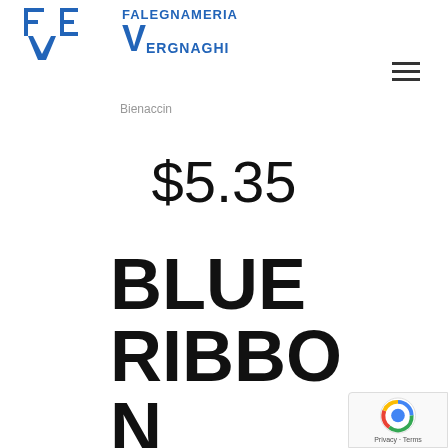[Figure (logo): Falegnameria Vergnaghi logo with stylized FV letters in blue and company name]
Bienaccin
$5.35
BLUE RIBBON BROWN